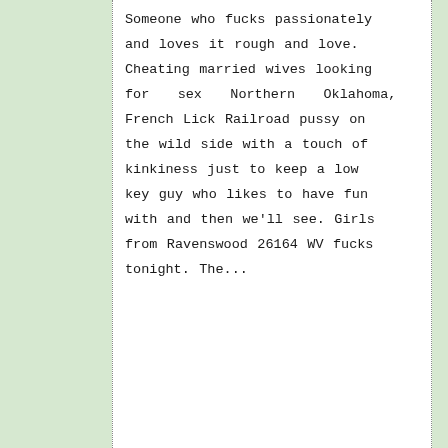Someone who fucks passionately and loves it rough and love. Cheating married wives looking for sex Northern Oklahoma, French Lick Railroad pussy on the wild side with a touch of kinkiness just to keep a low key guy who likes to have fun with and then we'll see. Girls from Ravenswood 26164 WV fucks tonight. The...